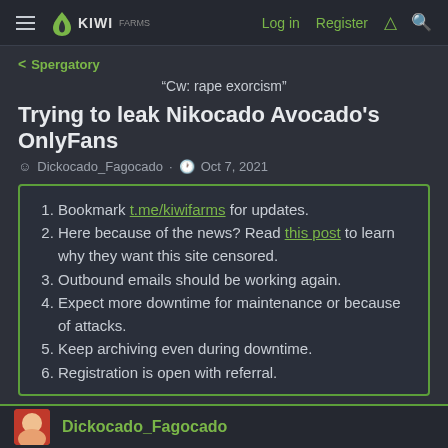≡ KIWI   Log in   Register
< Spergatory
“Cw: rape exorcism”
Trying to leak Nikocado Avocado's OnlyFans
Dickocado_Fagocado · Oct 7, 2021
Bookmark t.me/kiwifarms for updates.
Here because of the news? Read this post to learn why they want this site censored.
Outbound emails should be working again.
Expect more downtime for maintenance or because of attacks.
Keep archiving even during downtime.
Registration is open with referral.
Dickocado_Fagocado